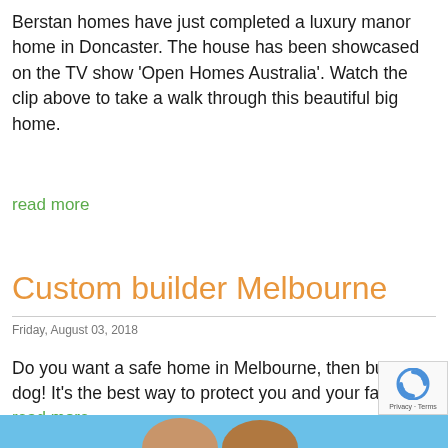Berstan homes have just completed a luxury manor home in Doncaster. The house has been showcased on the TV show 'Open Homes Australia'. Watch the clip above to take a walk through this beautiful big home.
read more
Custom builder Melbourne
Friday, August 03, 2018
Do you want a safe home in Melbourne, then buy a dog! It's the best way to protect you and your family
read more
[Figure (photo): Bottom portion of a photo showing two people, partially visible, against a blue sky background. A reCAPTCHA badge is overlaid in the bottom-right corner.]